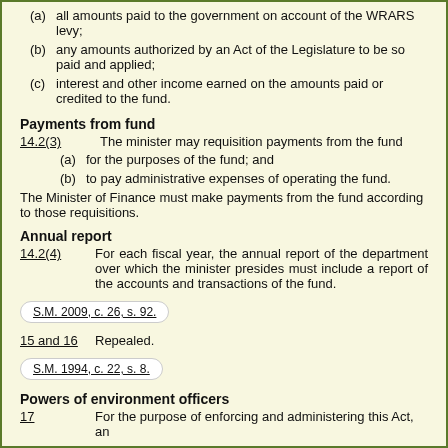(a) all amounts paid to the government on account of the WRARS levy;
(b) any amounts authorized by an Act of the Legislature to be so paid and applied;
(c) interest and other income earned on the amounts paid or credited to the fund.
Payments from fund
14.2(3)   The minister may requisition payments from the fund
(a) for the purposes of the fund; and
(b) to pay administrative expenses of operating the fund.
The Minister of Finance must make payments from the fund according to those requisitions.
Annual report
14.2(4)   For each fiscal year, the annual report of the department over which the minister presides must include a report of the accounts and transactions of the fund.
S.M. 2009, c. 26, s. 92.
15 and 16  Repealed.
S.M. 1994, c. 22, s. 8.
Powers of environment officers
17         For the purpose of enforcing and administering this Act, an